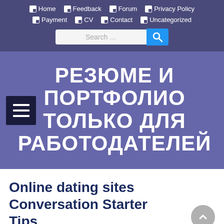Home | Feedback | Forum | Privacy Policy | Payment | CV | Contact | Uncategorized
[Figure (screenshot): Search bar with text input field and blue search button with magnifying glass icon]
РЕЗЮМЕ И ПОРТФОЛИО ТОЛЬКО ДЛЯ РАБОТОДАТЕЛЕЙ
Online dating sites Conversation Starter Tips